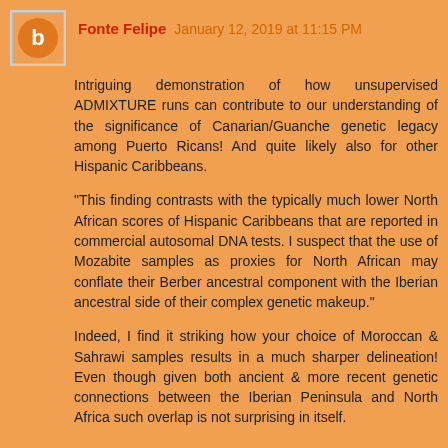Fonte Felipe   January 12, 2019 at 11:15 PM
Intriguing demonstration of how unsupervised ADMIXTURE runs can contribute to our understanding of the significance of Canarian/Guanche genetic legacy among Puerto Ricans! And quite likely also for other Hispanic Caribbeans.
"This finding contrasts with the typically much lower North African scores of Hispanic Caribbeans that are reported in commercial autosomal DNA tests. I suspect that the use of Mozabite samples as proxies for North African may conflate their Berber ancestral component with the Iberian ancestral side of their complex genetic makeup."
Indeed, I find it striking how your choice of Moroccan & Sahrawi samples results in a much sharper delineation! Even though given both ancient & more recent genetic connections between the Iberian Peninsula and North Africa such overlap is not surprising in itself.